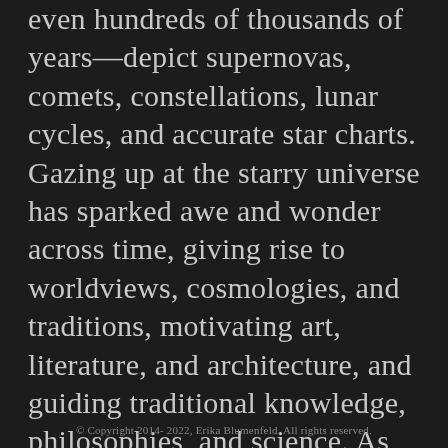even hundreds of thousands of years—depict supernovas, comets, constellations, lunar cycles, and accurate star charts. Gazing up at the starry universe has sparked awe and wonder across time, giving rise to worldviews, cosmologies, and traditions, motivating art, literature, and architecture, and guiding traditional knowledge, philosophies, and science. As far back as we can see in the material remains of our species' lineage, cultures have looked to the stars to answer some of the most [partially visible text]
© Copyright 2014- 2022, Erika Blumenfeld. All rights reserved.